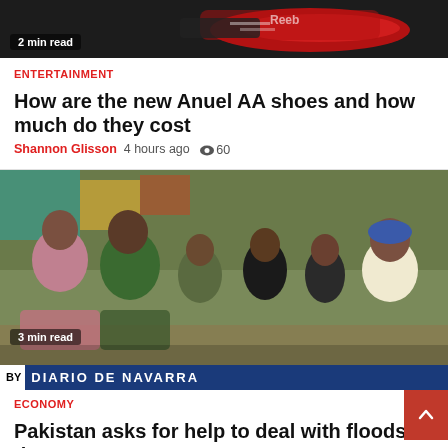[Figure (photo): Partial top image showing Reebok sneakers with red and black colors, with '2 min read' badge]
ENTERTAINMENT
How are the new Anuel AA shoes and how much do they cost
Shannon Glisson  4 hours ago  60
[Figure (photo): Group of Pakistani people including men and children sitting together, 3 min read badge, Diario de Navarra banner at bottom]
ECONOMY
Pakistan asks for help to deal with floods that have already left more than 1,000 people dead
4 hours ago  78